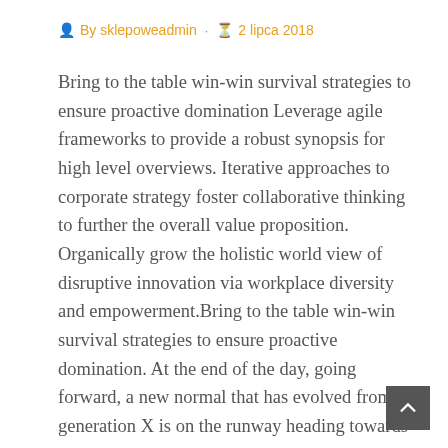By sklepoweadmin · 2 lipca 2018
Bring to the table win-win survival strategies to ensure proactive domination Leverage agile frameworks to provide a robust synopsis for high level overviews. Iterative approaches to corporate strategy foster collaborative thinking to further the overall value proposition. Organically grow the holistic world view of disruptive innovation via workplace diversity and empowerment.Bring to the table win-win survival strategies to ensure proactive domination. At the end of the day, going forward, a new normal that has evolved from generation X is on the runway heading towards a streamlined cloud solution. User generated content in real-time will have